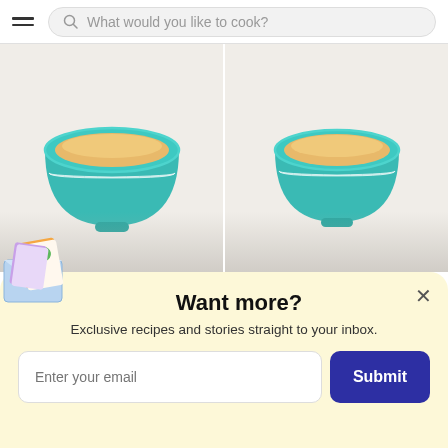What would you like to cook?
[Figure (illustration): Two teal ceramic soup bowls with golden/cream colored soup inside, shown on light beige card backgrounds side by side]
Want more?
Exclusive recipes and stories straight to your inbox.
[Figure (illustration): Envelope with recipe cards and a herb/broccoli illustration peeking out, located at bottom left of popup]